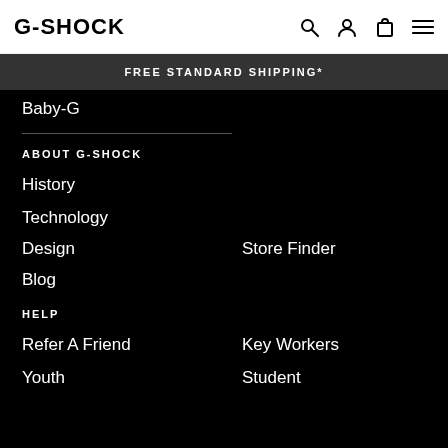G-SHOCK
FREE STANDARD SHIPPING*
Baby-G
ABOUT G-SHOCK
History
Technology
Design
Store Finder
Blog
HELP
Refer A Friend
Key Workers
Youth
Student